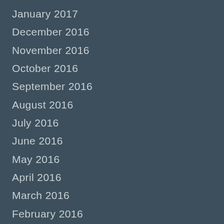January 2017
December 2016
November 2016
October 2016
September 2016
August 2016
July 2016
June 2016
May 2016
April 2016
March 2016
February 2016
January 2016
December 2015
November 2015
October 2015
September 2015
August 2015